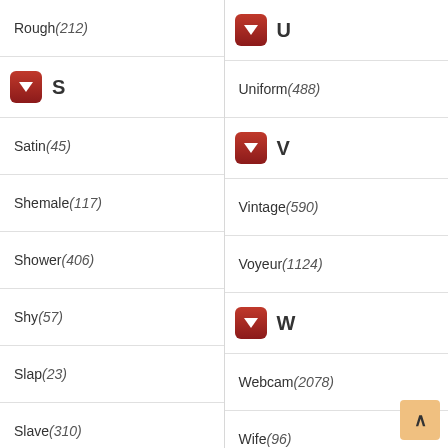Rough (212)
U (section header)
S
Uniform (488)
Satin (45)
V
Shemale (117)
Vintage (590)
Shower (406)
Voyeur (1124)
Shy (57)
W
Slap (23)
Webcam (2078)
Slave (310)
Wife (96)
Sleeping (43)
Smoking (80)
Solo (2675)
Spandex (75)
Spanking (403)